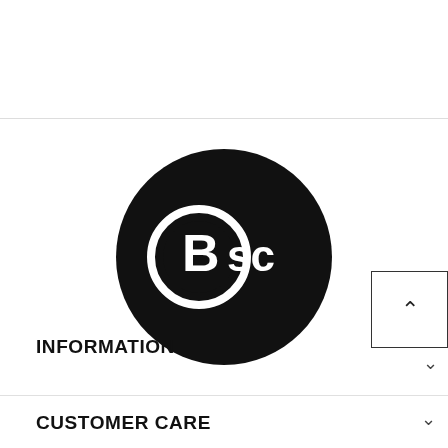[Figure (logo): BSC logo: black circle with white text 'BSC' where B is inside a smaller circle]
INFORMATION
CUSTOMER CARE